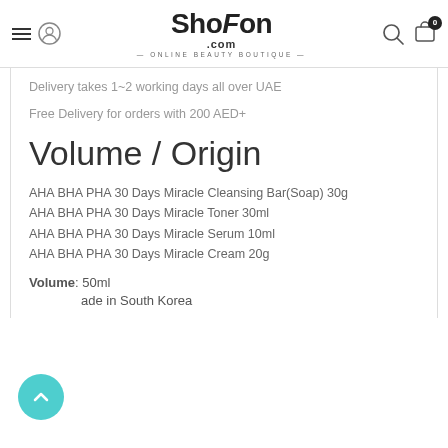ShoFon.com — ONLINE BEAUTY BOUTIQUE
Delivery takes 1~2 working days all over UAE
Free Delivery for orders with 200 AED+
Volume / Origin
AHA BHA PHA 30 Days Miracle Cleansing Bar(Soap) 30g
AHA BHA PHA 30 Days Miracle Toner 30ml
AHA BHA PHA 30 Days Miracle Serum 10ml
AHA BHA PHA 30 Days Miracle Cream 20g
Volume: 50ml
Made in South Korea